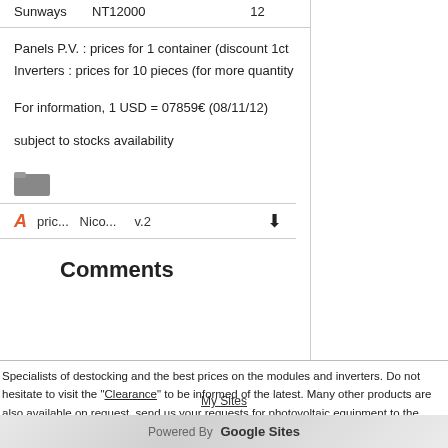Sunways     NT12000     12
Panels P.V. : prices for 1 container (discount 1ct
Inverters : prices for 10 pieces (for more quantity
For information, 1 USD = 07859€ (08/11/12)
subject to stocks availability
[Figure (other): Folder icon (gray)]
pric...  Nico...  v.2  ↓
Comments
Specialists of destocking and the best prices on the modules and inverters. Do not hesitate to visit the "Clearance" to be informed of the latest. Many other products are also available on request, send us your requests for photovoltaic equipment to the "contact".
My Sites
Powered By  Google Sites